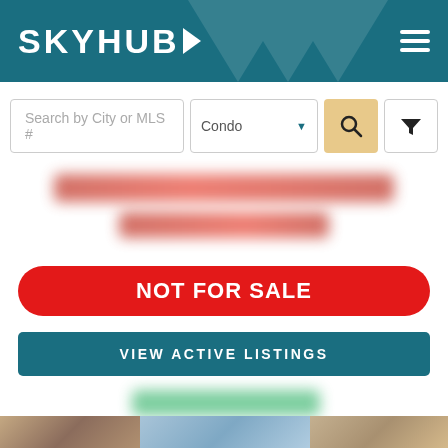SKYHUB
Search by City or MLS #
Condo
[blurred address lines]
NOT FOR SALE
VIEW ACTIVE LISTINGS
[Figure (photo): Bottom portion showing blurred building/condo photos]